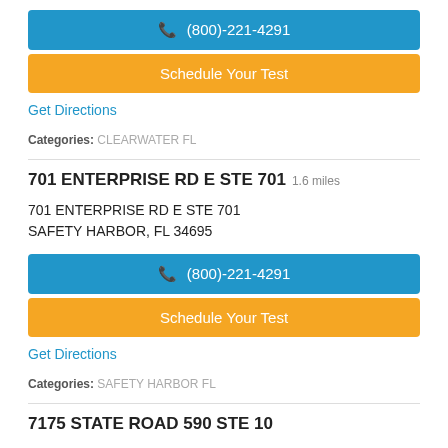(800)-221-4291
Schedule Your Test
Get Directions
Categories: CLEARWATER FL
701 ENTERPRISE RD E STE 701 1.6 miles
701 ENTERPRISE RD E STE 701
SAFETY HARBOR, FL 34695
(800)-221-4291
Schedule Your Test
Get Directions
Categories: SAFETY HARBOR FL
7175 STATE ROAD 590 STE 10